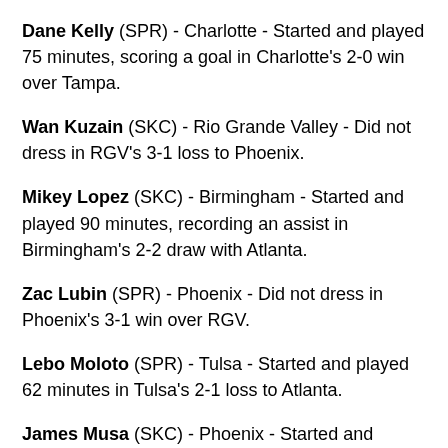Dane Kelly (SPR) - Charlotte - Started and played 75 minutes, scoring a goal in Charlotte's 2-0 win over Tampa.
Wan Kuzain (SKC) - Rio Grande Valley - Did not dress in RGV's 3-1 loss to Phoenix.
Mikey Lopez (SKC) - Birmingham - Started and played 90 minutes, recording an assist in Birmingham's 2-2 draw with Atlanta.
Zac Lubin (SPR) - Phoenix - Did not dress in Phoenix's 3-1 win over RGV.
Lebo Moloto (SPR) - Tulsa - Started and played 62 minutes in Tulsa's 2-1 loss to Atlanta.
James Musa (SKC) - Phoenix - Started and played 90